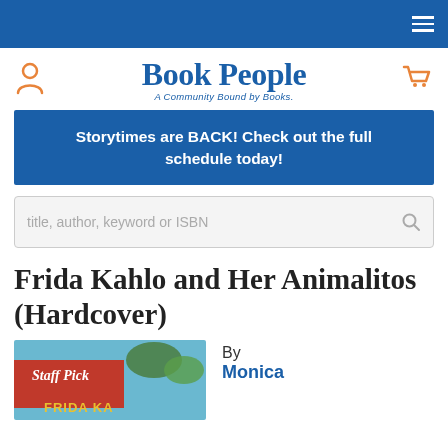BookPeople — A Community Bound by Books.
Storytimes are BACK! Check out the full schedule today!
title, author, keyword or ISBN
Frida Kahlo and Her Animalitos (Hardcover)
By Monica